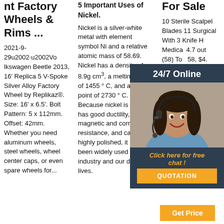nt Factory Wheels & Rims ...
2021-9-29u2002·u2002Volkswagen Beetle 2013, 16' Replica 5 V-Spoke Silver Alloy Factory Wheel by Replikaz®. Size: 16' x 6.5'. Bolt Pattern: 5 x 112mm. Offset: 42mm. Whether you need aluminum wheels, steel wheels, wheel center caps, or even spare wheels for...
5 Important Uses of Nickel.
Nickel is a silver-white metal with element symbol Ni and a relative atomic mass of 58.69. Nickel has a density of 8.9g cm³, a melting point of 1455 ° C, and a boiling point of 2730 ° C. Because nickel is hard, has good ductility, magnetic and corrosion resistance, and can be highly polished, it has been widely used in industry and our daily lives.
For Sale
10 Sterile Scalpel Blades 11 Surgical With 3 Knife Handle Medical... 4.7 out (58) Top 58, $4... CareFusion Surgical Blade ... 20pcs. New. 5... Orthodontic Interproximal Enamel Reduction IPR Automatic Strip 40hd. 5 T...
[Figure (photo): Customer service representative woman with headset smiling, overlaid with a dark blue chat widget box containing '24/7 Online' header, a click here for free chat message, and a QUOTATION button in orange.]
[Figure (other): Orange 'Get Price' button at bottom right]